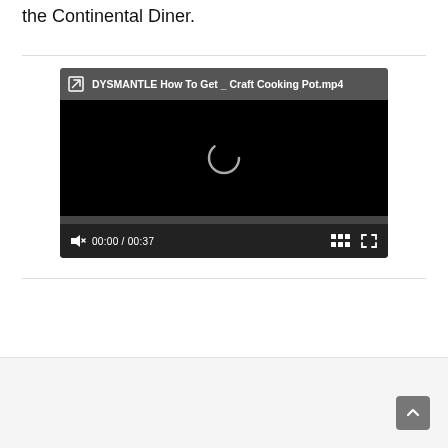the Continental Diner.
[Figure (screenshot): Embedded video player showing 'DYSMANTLE How To Get _ Craft Cooking Pot.mp4' with a black screen, loading spinner, progress bar, and controls showing 00:00 / 00:37]